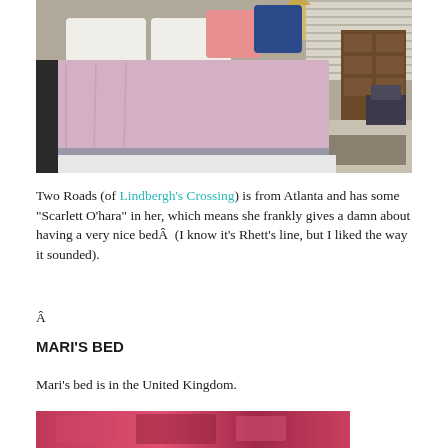[Figure (photo): Bedroom photo showing a bed with pink/lavender duvet and pillows, with furniture in background]
Two Roads (of Lindbergh's Crossing) is from Atlanta and has some “Scarlett O’hara” in her, which means she frankly gives a damn about having a very nice bedÂ  (I know it’s Rhett’s line, but I liked the way it sounded).
Â
MARI’S BED
Mari’s bed is in the United Kingdom.
[Figure (photo): Partial photo of a bed with colorful red/pink bedding]